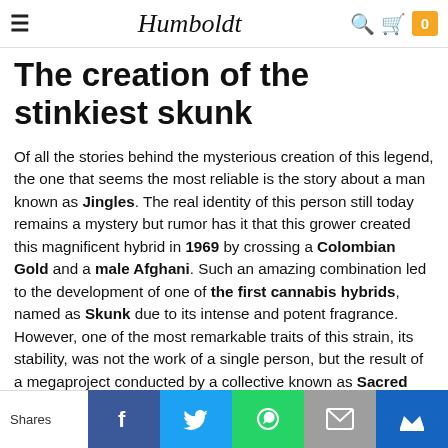≡  Humboldt  🔍  🛒  0
The creation of the stinkiest skunk
Of all the stories behind the mysterious creation of this legend, the one that seems the most reliable is the story about a man known as Jingles. The real identity of this person still today remains a mystery but rumor has it that this grower created this magnificent hybrid in 1969 by crossing a Colombian Gold and a male Afghani. Such an amazing combination led to the development of one of the first cannabis hybrids, named as Skunk due to its intense and potent fragrance. However, one of the most remarkable traits of this strain, its stability, was not the work of a single person, but the result of a megaproject conducted by a collective known as Sacred
Shares | Facebook | Twitter | WhatsApp | Email | Crown